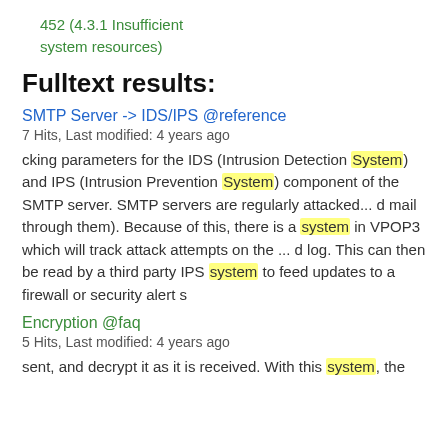452 (4.3.1 Insufficient system resources)
Fulltext results:
SMTP Server -> IDS/IPS @reference
7 Hits, Last modified: 4 years ago
cking parameters for the IDS (Intrusion Detection System) and IPS (Intrusion Prevention System) component of the SMTP server. SMTP servers are regularly attacked... d mail through them). Because of this, there is a system in VPOP3 which will track attack attempts on the ... d log. This can then be read by a third party IPS system to feed updates to a firewall or security alert s
Encryption @faq
5 Hits, Last modified: 4 years ago
sent, and decrypt it as it is received. With this system, the